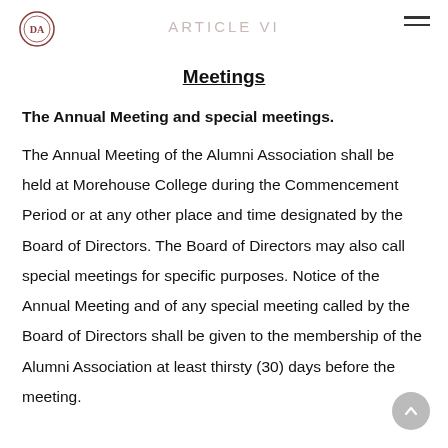ARTICLE VI
Meetings
The Annual Meeting and special meetings.
The Annual Meeting of the Alumni Association shall be held at Morehouse College during the Commencement Period or at any other place and time designated by the Board of Directors. The Board of Directors may also call special meetings for specific purposes. Notice of the Annual Meeting and of any special meeting called by the Board of Directors shall be given to the membership of the Alumni Association at least thirsty (30) days before the meeting.